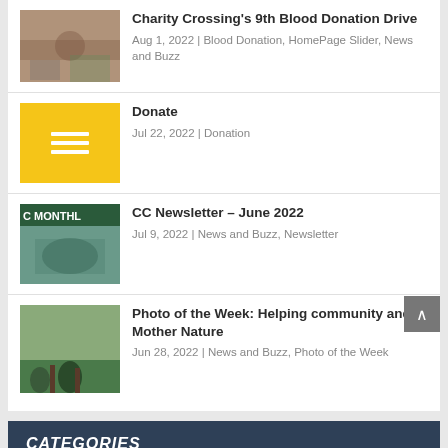[Figure (photo): Thumbnail photo for Charity Crossing's 9th Blood Donation Drive article]
Charity Crossing's 9th Blood Donation Drive
Aug 1, 2022 | Blood Donation, HomePage Slider, News and Buzz
[Figure (illustration): Yellow square icon with white horizontal lines representing Donate article]
Donate
Jul 22, 2022 | Donation
[Figure (photo): Thumbnail for CC Newsletter – June 2022 showing a MONTHLY cover]
CC Newsletter – June 2022
Jul 9, 2022 | News and Buzz, Newsletter
[Figure (photo): Thumbnail photo for Photo of the Week article showing people in nature]
Photo of the Week: Helping community and Mother Nature
Jun 28, 2022 | News and Buzz, Photo of the Week
CATEGORIES